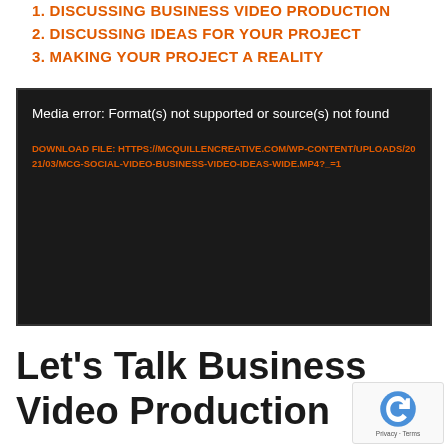1. DISCUSSING BUSINESS VIDEO PRODUCTION
2. DISCUSSING IDEAS FOR YOUR PROJECT
3. MAKING YOUR PROJECT A REALITY
[Figure (screenshot): Video player showing a media error: Format(s) not supported or source(s) not found. Below the error is an orange download link: DOWNLOAD FILE: HTTPS://MCQUILLENCREATIVE.COM/WP-CONTENT/UPLOADS/2021/03/MCG-SOCIAL-VIDEO-BUSINESS-VIDEO-IDEAS-WIDE.MP4?_=1. The player background is dark/black.]
Let’s Talk Business Video Production